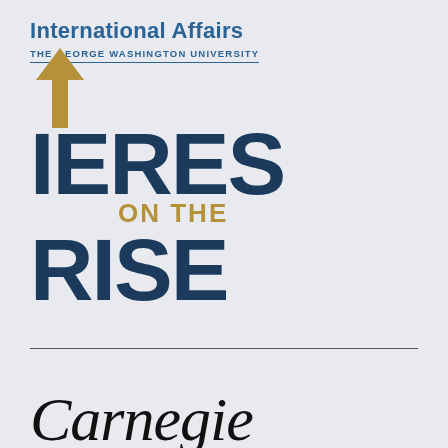[Figure (logo): Elliott School of International Affairs, The George Washington University logo with blue text and underline]
[Figure (logo): IERES ON THE RISE logo with large dark navy bold text and gold upward arrow replacing the letter I stem; 'ON THE' in gold smaller text between IERES and RISE]
[Figure (logo): Carnegie Endowment logo in cursive/script black text at bottom of page]